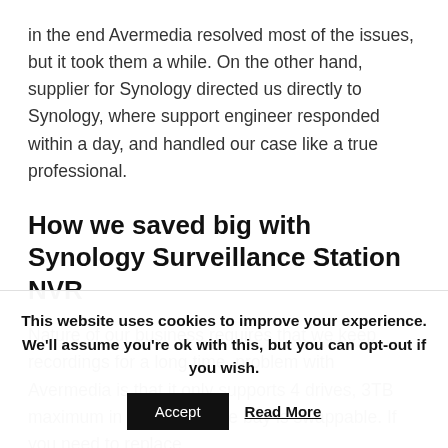in the end Avermedia resolved most of the issues, but it took them a while. On the other hand, supplier for Synology directed us directly to Synology, where support engineer responded within a day, and handled our case like a true professional.
How we saved big with Synology Surveillance Station NVR
Nature of our business requires that we keep recordings for a long time, problem with Avermedia is that it only supports 4 drives, 3TB maximum in size. Only one bay is swappable. If you need to replace
This website uses cookies to improve your experience. We'll assume you're ok with this, but you can opt-out if you wish.